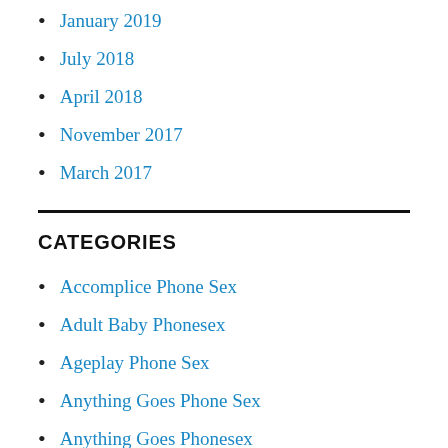January 2019
July 2018
April 2018
November 2017
March 2017
CATEGORIES
Accomplice Phone Sex
Adult Baby Phonesex
Ageplay Phone Sex
Anything Goes Phone Sex
Anything Goes Phonesex
Babysitter Phone Sex Teen